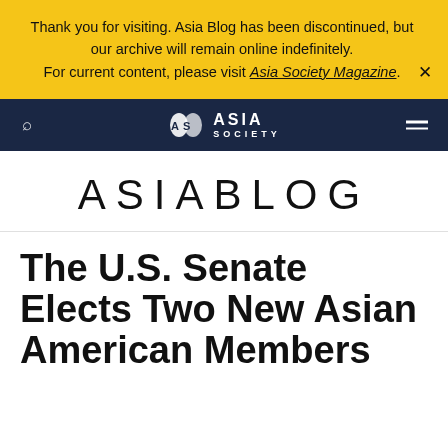Thank you for visiting. Asia Blog has been discontinued, but our archive will remain online indefinitely. For current content, please visit Asia Society Magazine.
[Figure (logo): Asia Society logo in white on dark navy navigation bar]
ASIABLOG
The U.S. Senate Elects Two New Asian American Members